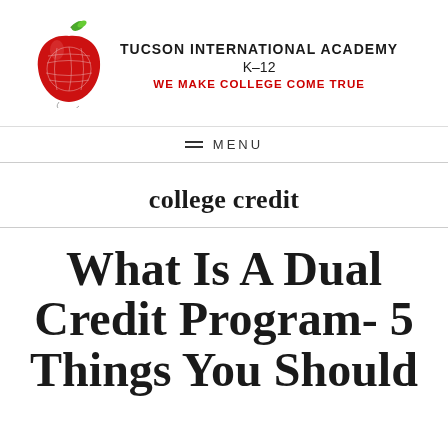[Figure (logo): Tucson International Academy logo: red apple with globe design and green leaf]
TUCSON INTERNATIONAL ACADEMY K-12 WE MAKE COLLEGE COME TRUE
MENU
college credit
What Is A Dual Credit Program- 5 Things You Should